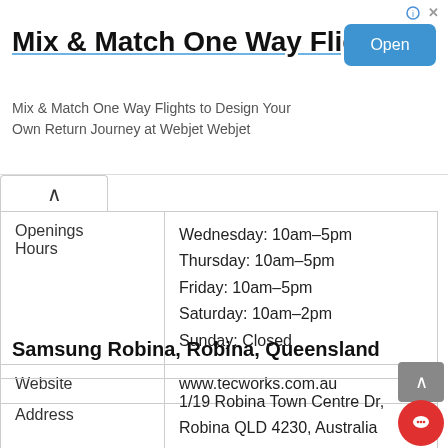Mix & Match One Way Flights
Mix & Match One Way Flights to Design Your Own Return Journey at Webjet Webjet
| Openings Hours | Wednesday: 10am–5pm
Thursday: 10am–5pm
Friday: 10am–5pm
Saturday: 10am–2pm
Sunday: Closed |
| Website | www.tecworks.com.au |
Samsung Robina, Robina, Queensland
| Address | 1/19 Robina Town Centre Dr, Robina QLD 4230, Australia |